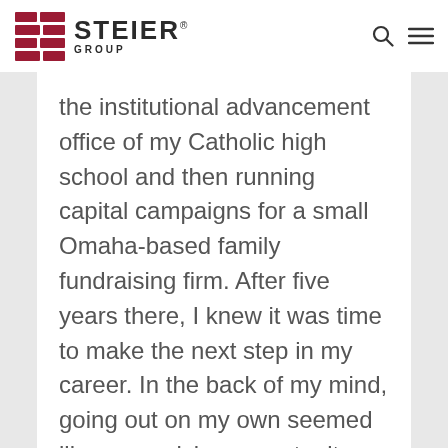[Figure (logo): Steier Group logo with brick icon and company name]
the institutional advancement office of my Catholic high school and then running capital campaigns for a small Omaha-based family fundraising firm. After five years there, I knew it was time to make the next step in my career. In the back of my mind, going out on my own seemed like a promising opportunity but also a big risk with a two-year-old son and newborn at home. Then my best